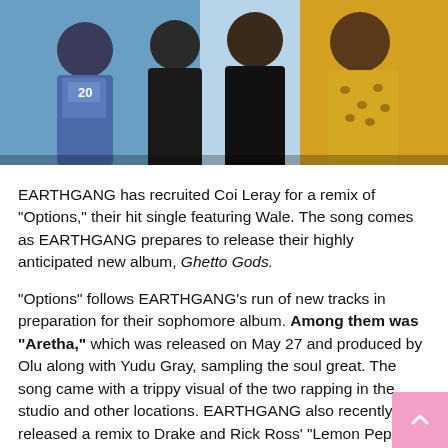[Figure (photo): Photo of EARTHGANG members and others posing together, wearing colorful clothing including a yellow leopard print shirt and sportswear with the number 20]
EARTHGANG has recruited Coi Leray for a remix of "Options," their hit single featuring Wale. The song comes as EARTHGANG prepares to release their highly anticipated new album, Ghetto Gods.
"Options" follows EARTHGANG's run of new tracks in preparation for their sophomore album. Among them was "Aretha," which was released on May 27 and produced by Olu along with Yudu Gray, sampling the soul great. The song came with a trippy visual of the two rapping in the studio and other locations. EARTHGANG also recently released a remix to Drake and Rick Ross' "Lemon Pepper Freestyle."